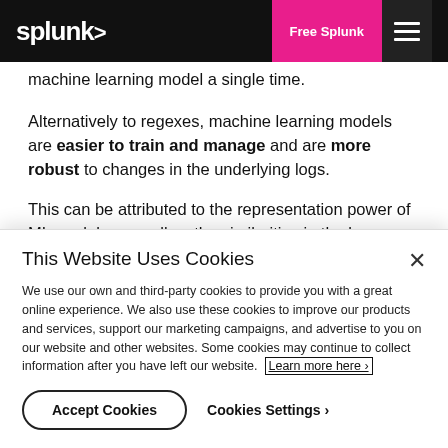splunk> | Free Splunk
machine learning model a single time.
Alternatively to regexes, machine learning models are easier to train and manage and are more robust to changes in the underlying logs.
This can be attributed to the representation power of ML models, as well as the similarities in the logs generated by
This Website Uses Cookies
We use our own and third-party cookies to provide you with a great online experience. We also use these cookies to improve our products and services, support our marketing campaigns, and advertise to you on our website and other websites. Some cookies may continue to collect information after you have left our website. Learn more here ›
Accept Cookies | Cookies Settings ›